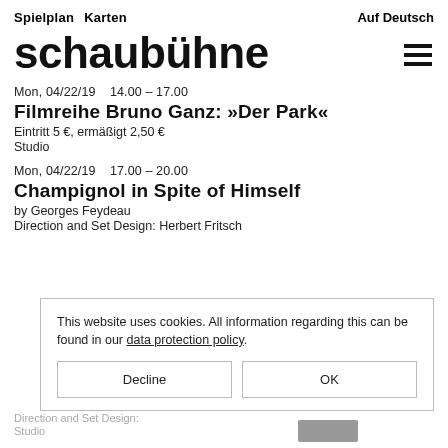Spielplan  Karten    Auf Deutsch
schaubühne
Mon, 04/22/19    14.00 – 17.00
Filmreihe Bruno Ganz: »Der Park«
Eintritt 5 €, ermäßigt 2,50 €
Studio
Mon, 04/22/19    17.00 – 20.00
Champignol in Spite of Himself
by Georges Feydeau
Direction and Set Design: Herbert Fritsch
This website uses cookies. All information regarding this can be found in our data protection policy.
Decline
OK
Direction and Set Design:
Studio